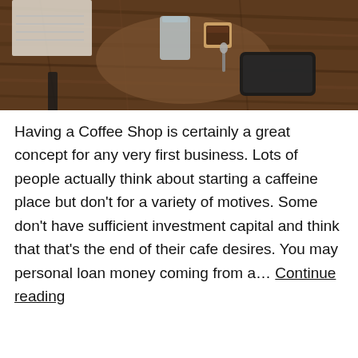[Figure (photo): A rustic wooden table with a coffee cup, water glass, spoon, and a smartphone viewed from above]
Having a Coffee Shop is certainly a great concept for any very first business. Lots of people actually think about starting a caffeine place but don't for a variety of motives. Some don't have sufficient investment capital and think that that's the end of their cafe desires. You may personal loan money coming from a… Continue reading